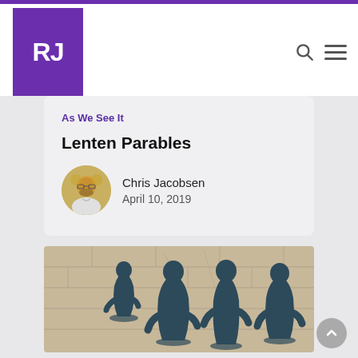RJ logo and navigation header
As We See It
Lenten Parables
Chris Jacobsen
April 10, 2019
[Figure (photo): Silhouette shadows of four human figures (adults and a child) cast on a textured stone/concrete wall, in dark teal/navy color.]